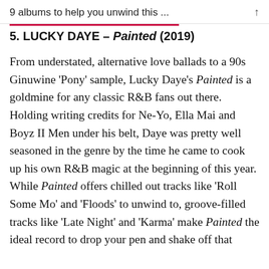9 albums to help you unwind this ...
5. LUCKY DAYE – Painted (2019)
From understated, alternative love ballads to a 90s Ginuwine 'Pony' sample, Lucky Daye's Painted is a goldmine for any classic R&B fans out there. Holding writing credits for Ne-Yo, Ella Mai and Boyz II Men under his belt, Daye was pretty well seasoned in the genre by the time he came to cook up his own R&B magic at the beginning of this year. While Painted offers chilled out tracks like 'Roll Some Mo' and 'Floods' to unwind to, groove-filled tracks like 'Late Night' and 'Karma' make Painted the ideal record to drop your pen and shake off that